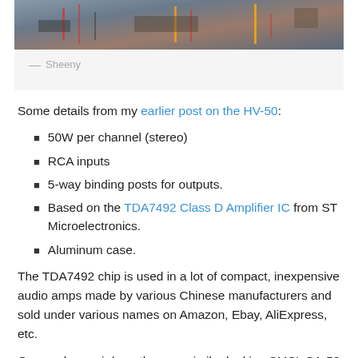[Figure (photo): Partial photo of electronics/amplifier internals with wiring, shown cropped at top of page]
— Sheeny
Some details from my earlier post on the HV-50:
50W per channel (stereo)
RCA inputs
5-way binding posts for outputs.
Based on the TDA7492 Class D Amplifier IC from ST Microelectronics.
Aluminum case.
The TDA7492 chip is used in a lot of compact, inexpensive audio amps made by various Chinese manufacturers and sold under various names on Amazon, Ebay, AliExpress, etc.
One such amp is/was the very similar looking SMSL SA-50 amplifier, which puzzled me, because when I first